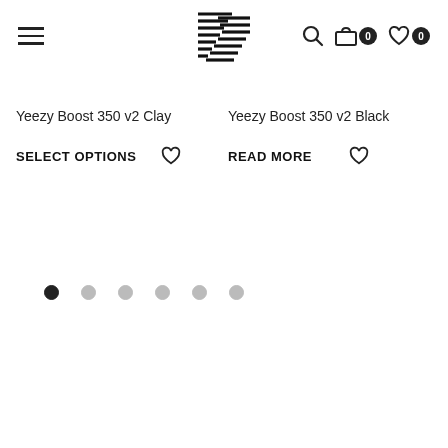Navigation header with hamburger menu, logo, search icon, cart (0), and wishlist (0)
Yeezy Boost 350 v2 Clay
SELECT OPTIONS
Yeezy Boost 350 v2 Black
READ MORE
[Figure (other): Carousel navigation dots, 6 total, first dot filled/active, rest are light grey]